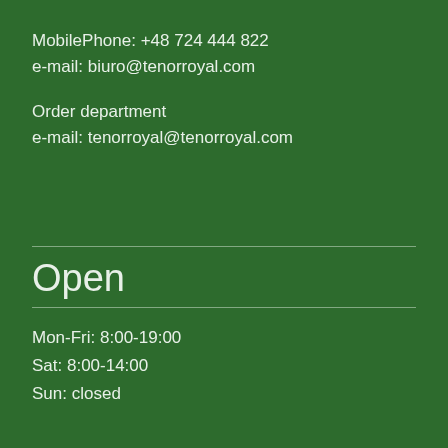MobilePhone: +48 724 444 822
e-mail: biuro@tenorroyal.com
Order department
e-mail: tenorroyal@tenorroyal.com
Open
Mon-Fri: 8:00-19:00
Sat: 8:00-14:00
Sun: closed